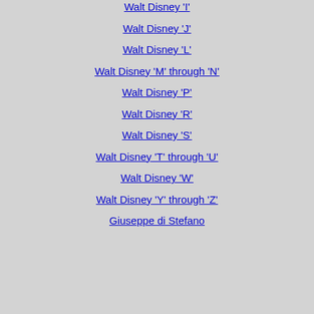Walt Disney 'I'
Walt Disney 'J'
Walt Disney 'L'
Walt Disney 'M' through 'N'
Walt Disney 'P'
Walt Disney 'R'
Walt Disney 'S'
Walt Disney 'T' through 'U'
Walt Disney 'W'
Walt Disney 'Y' through 'Z'
Giuseppe di Stefano